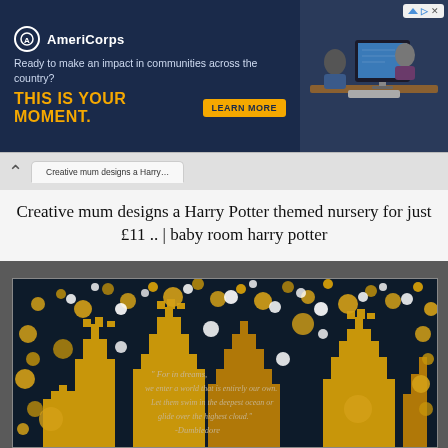[Figure (screenshot): AmeriCorps advertisement banner with dark navy background, logo, tagline 'Ready to make an impact in communities across the country?', headline 'THIS IS YOUR MOMENT.', LEARN MORE button, and photo of people at computers on the right.]
Creative mum designs a Harry Potter themed nursery for just £11 .. | baby room harry potter
[Figure (photo): Harry Potter themed nursery mural on a dark navy wall featuring golden Hogwarts castle silhouettes with scattered gold and white circles/dots, and a Dumbledore quote in script lettering reading: 'For in dreams, we enter a world that is entirely our own. Let them swim in the deepest ocean or glide over the highest cloud.' -Dumbledore]